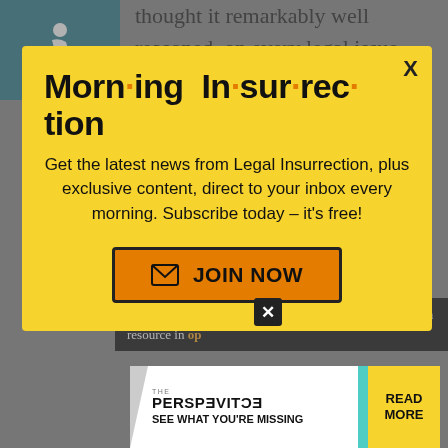[Figure (logo): Wheelchair accessibility icon on teal/dark green background]
thought it remarkably well reasoned, on every legal issue raised. I feel that it is comprehensive enough to serve as
[Figure (infographic): Modal popup: Morning Insurrection newsletter signup with yellow background, large bold title with orange dots, body text 'Get the latest news from Legal Insurrection, plus exclusive content, direct to your inbox every morning. Subscribe today – it's free!', orange JOIN NOW button, and X close button]
where you must produce facts in support of your tion, a resource in
[Figure (infographic): Ad banner: THE PERSPECTIVE - SEE WHAT YOU'RE MISSING with READ MORE button on yellow background]